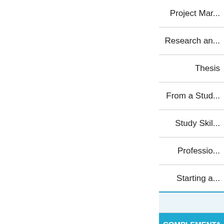Project Man...
Research an...
Thesis
From a Stud...
Study Skil...
Professio...
Starting a...
COMPLEMENTA... (Select 60 ECTS)
OTHER COMP... ()
Participatio...